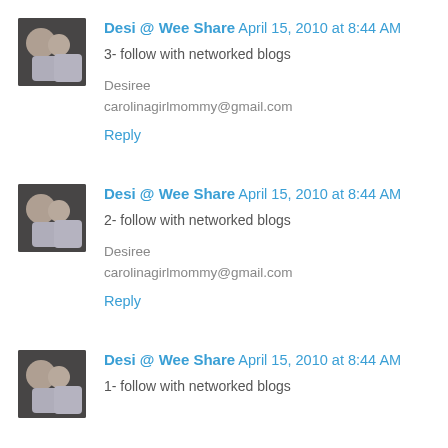[Figure (photo): Avatar photo of a person - comment 1]
Desi @ Wee Share  April 15, 2010 at 8:44 AM
3- follow with networked blogs

Desiree
carolinagirlmommy@gmail.com

Reply
[Figure (photo): Avatar photo of a person - comment 2]
Desi @ Wee Share  April 15, 2010 at 8:44 AM
2- follow with networked blogs

Desiree
carolinagirlmommy@gmail.com

Reply
[Figure (photo): Avatar photo of a person - comment 3]
Desi @ Wee Share  April 15, 2010 at 8:44 AM
1- follow with networked blogs